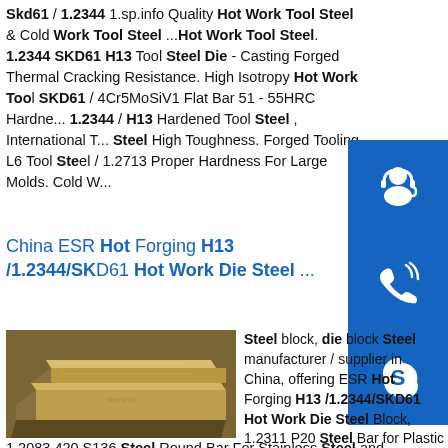Skd61 / 1.2344 1.sp.info Quality Hot Work Tool Steel & Cold Work Tool Steel ...Hot Work Tool Steel. 1.2344 SKD61 H13 Tool Steel Die - Casting Forged Thermal Cracking Resistance. High Isotropy Hot Work Tool SKD61 / 4Cr5MoSiV1 Flat Bar 51 - 55HRC Hardne... 1.2344 / H13 Hardened Tool Steel , International T... Steel High Toughness. Forged Tooling L6 Tool Ste... / 1.2713 Proper Hardness For Large Molds. Cold W...
China ESR Hot Forging H13 /1.2344/SKD61 Hot Work Die Steel ...
[Figure (photo): Photo of flat steel plates stacked, brownish-gold color, industrial setting]
Steel block, die block... Steel manufacturer / supplier in China, offering ESR Hot Forging H13 /1.2344/SKD61 Hot Work Die Steel Block, 1.2311 P20 Steel Bar for Plastic Mould Steel, Forged 1.2083 420 S136 Steel Round Bar For Stainless Steel and